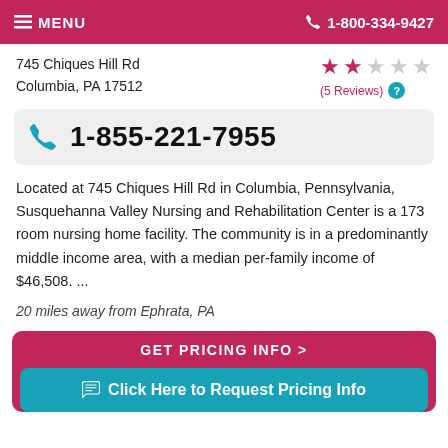MENU  1-800-334-9427
745 Chiques Hill Rd
Columbia, PA 17512
(5 Reviews)
1-855-221-7955
Located at 745 Chiques Hill Rd in Columbia, Pennsylvania, Susquehanna Valley Nursing and Rehabilitation Center is a 173 room nursing home facility. The community is in a predominantly middle income area, with a median per-family income of $46,508. ...
20 miles away from Ephrata, PA
GET PRICING INFO ›
Click Here to Request Pricing Info